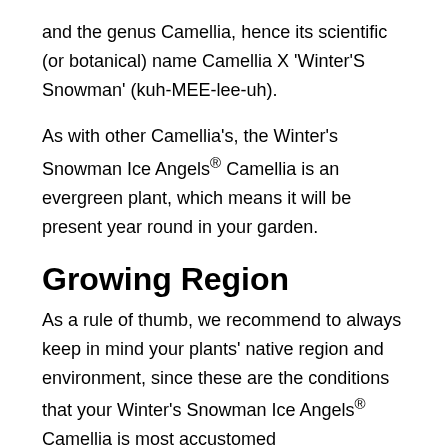and the genus Camellia, hence its scientific (or botanical) name Camellia X 'Winter'S Snowman' (kuh-MEE-lee-uh).
As with other Camellia's, the Winter's Snowman Ice Angels® Camellia is an evergreen plant, which means it will be present year round in your garden.
Growing Region
As a rule of thumb, we recommend to always keep in mind your plants' native region and environment, since these are the conditions that your Winter's Snowman Ice Angels® Camellia is most accustomed